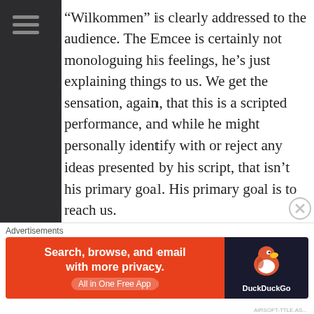“Wilkommen” is clearly addressed to the audience. The Emcee is certainly not monologuing his feelings, he’s just explaining things to us. We get the sensation, again, that this is a scripted performance, and while he might personally identify with or reject any ideas presented by his script, that isn’t his primary goal. His primary goal is to reach us.
“So What” doesn’t seem like a performance at first blush, but under our definition, it is. Think carefully: Fraulein Schneider is
Advertisements
[Figure (other): DuckDuckGo advertisement banner. Orange left panel with text 'Search, browse, and email with more privacy. All in One Free App'. Dark right panel with DuckDuckGo duck logo and brand name.]